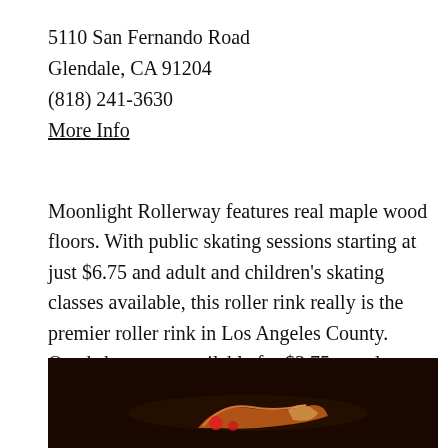5110 San Fernando Road
Glendale, CA 91204
(818) 241-3630
More Info
Moonlight Rollerway features real maple wood floors. With public skating sessions starting at just $6.75 and adult and children's skating classes available, this roller rink really is the premier roller rink in Los Angeles County. Quad skates are available for $3.75 rental or you may bring your own. Moonlight Rollerway is available for birthday parties and other private events.
[Figure (photo): Photo of roller skates on a dark background, showing colorful quad roller skates]